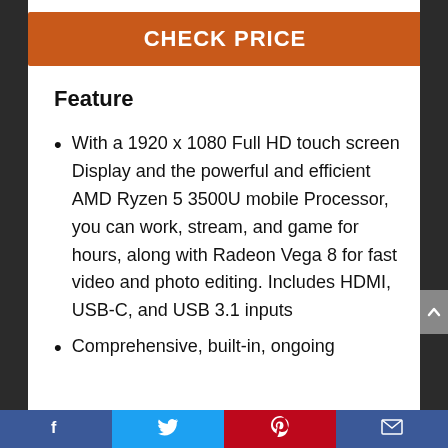CHECK PRICE
Feature
With a 1920 x 1080 Full HD touch screen Display and the powerful and efficient AMD Ryzen 5 3500U mobile Processor, you can work, stream, and game for hours, along with Radeon Vega 8 for fast video and photo editing. Includes HDMI, USB-C, and USB 3.1 inputs
Comprehensive, built-in, ongoing
Facebook | Twitter | Pinterest | Mail